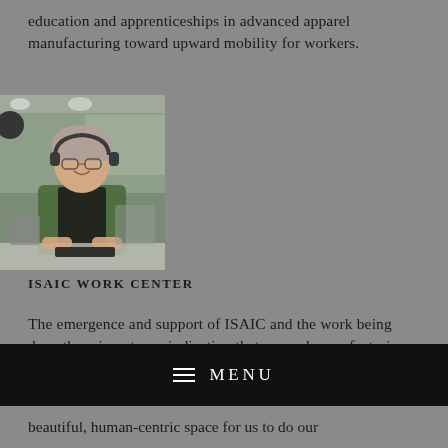education and apprenticeships in advanced apparel manufacturing toward upward mobility for workers.
[Figure (photo): A person wearing headphones sitting at a workstation in an apparel manufacturing facility, smiling at the camera.]
ISAIC WORK CENTER
The emergence and support of ISAIC and the work being done there is a strong indication that apparel manufacturing in Detroit can exist, grow
≡  MENU
beautiful, human-centric space for us to do our